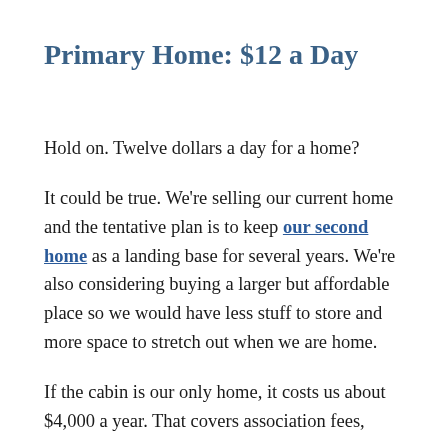Primary Home: $12 a Day
Hold on. Twelve dollars a day for a home?
It could be true. We're selling our current home and the tentative plan is to keep our second home as a landing base for several years. We're also considering buying a larger but affordable place so we would have less stuff to store and more space to stretch out when we are home.
If the cabin is our only home, it costs us about $4,000 a year. That covers association fees,